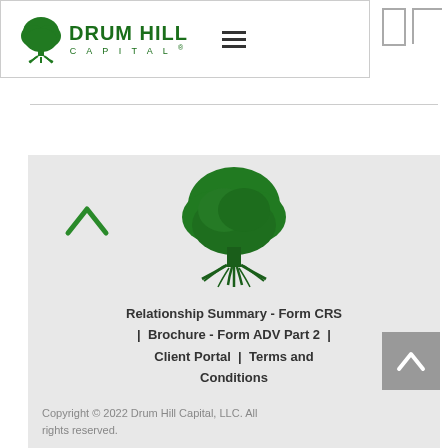Drum Hill Capital
[Figure (logo): Drum Hill Capital logo with green tree and text, plus hamburger menu icon]
[Figure (illustration): Large green tree illustration (Drum Hill Capital brand icon) centered in gray footer section]
Relationship Summary - Form CRS | Brochure - Form ADV Part 2 | Client Portal | Terms and Conditions
Copyright © 2022 Drum Hill Capital, LLC. All rights reserved.